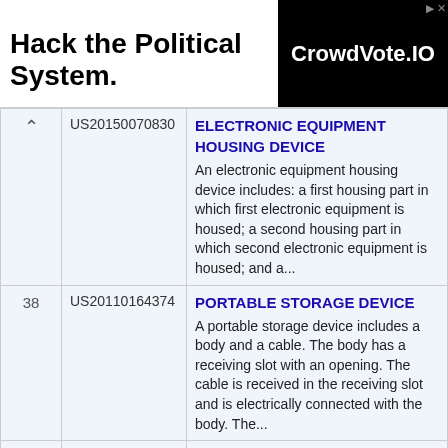[Figure (other): Advertisement banner: 'Hack the Political System.' with CrowdVote.IO logo in black background]
| # | Patent Number | Title / Abstract |
| --- | --- | --- |
| ^ | US20150070830 | ELECTRONIC EQUIPMENT HOUSING DEVICE
An electronic equipment housing device includes: a first housing part in which first electronic equipment is housed; a second housing part in which second electronic equipment is housed; and a... |
| 38 | US20110164374 | PORTABLE STORAGE DEVICE
A portable storage device includes a body and a cable. The body has a receiving slot with an opening. The cable is received in the receiving slot and is electrically connected with the body. The... |
| 39 | US20090279244 | Disk Drive Carrier and Cage Preventing Installation of Incompatible Disk Drives
An apparatus comprising a disk drive assembly and a disk drive cage for selectively receiving the disk drive assembly. The disk drive assembly is... |